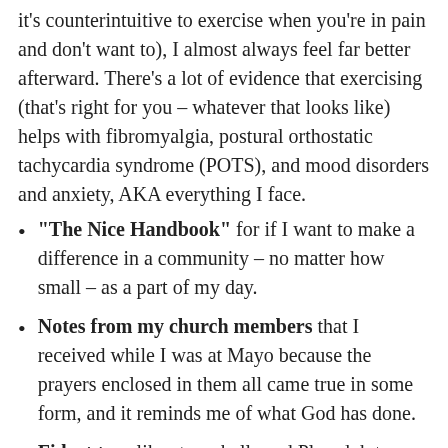it's counterintuitive to exercise when you're in pain and don't want to), I almost always feel far better afterward. There's a lot of evidence that exercising (that's right for you – whatever that looks like) helps with fibromyalgia, postural orthostatic tachycardia syndrome (POTS), and mood disorders and anxiety, AKA everything I face.
"The Nice Handbook" for if I want to make a difference in a community – no matter how small – as a part of my day.
Notes from my church members that I received while I was at Mayo because the prayers enclosed in them all came true in some form, and it reminds me of what God has done.
Fidget toys like stress balls and Play-doh to keep my hands busy if I'm experiencing anxiety